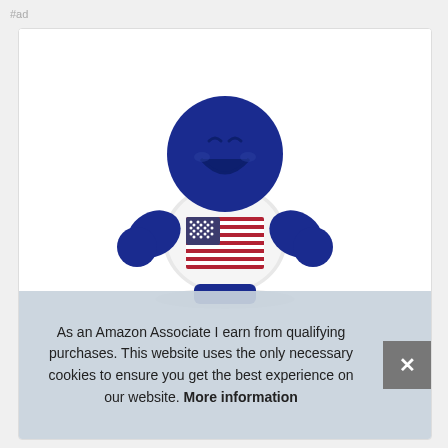#ad
[Figure (photo): Blue toy figure/person with a round smiling face and arms raised, wearing a white shirt with an American flag on the chest, photographed against a white background.]
As an Amazon Associate I earn from qualifying purchases. This website uses the only necessary cookies to ensure you get the best experience on our website. More information